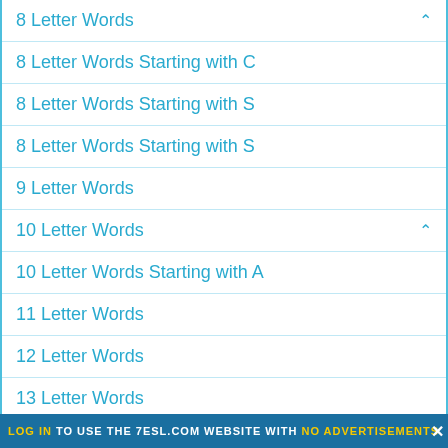8 Letter Words
8 Letter Words Starting with C
8 Letter Words Starting with S
8 Letter Words Starting with S
9 Letter Words
10 Letter Words
10 Letter Words Starting with A
11 Letter Words
12 Letter Words
13 Letter Words
14 Letter Words
LOG IN TO USE THE 7ESL.COM WEBSITE WITH NO ADVERTISEMENTS